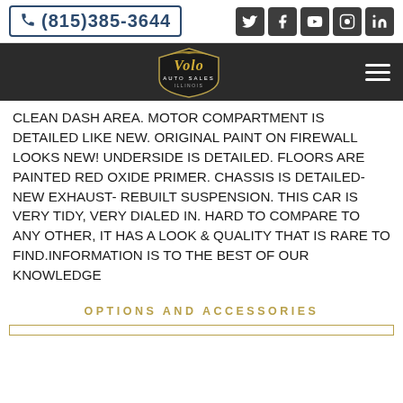(815)385-3644
[Figure (logo): Volo Auto Sales Illinois logo in gold and black, circular shield design]
CLEAN DASH AREA. MOTOR COMPARTMENT IS DETAILED LIKE NEW. ORIGINAL PAINT ON FIREWALL LOOKS NEW! UNDERSIDE IS DETAILED. FLOORS ARE PAINTED RED OXIDE PRIMER. CHASSIS IS DETAILED- NEW EXHAUST- REBUILT SUSPENSION. THIS CAR IS VERY TIDY, VERY DIALED IN. HARD TO COMPARE TO ANY OTHER, IT HAS A LOOK & QUALITY THAT IS RARE TO FIND.INFORMATION IS TO THE BEST OF OUR KNOWLEDGE
OPTIONS AND ACCESSORIES